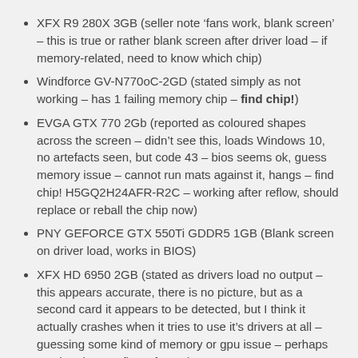XFX R9 280X 3GB (seller note ‘fans work, blank screen’ – this is true or rather blank screen after driver load – if memory-related, need to know which chip)
Windforce GV-N770oC-2GD (stated simply as not working – has 1 failing memory chip – find chip!)
EVGA GTX 770 2Gb (reported as coloured shapes across the screen – didn’t see this, loads Windows 10, no artefacts seen, but code 43 – bios seems ok, guess memory issue – cannot run mats against it, hangs – find chip! H5GQ2H24AFR-R2C – working after reflow, should replace or reball the chip now)
PNY GEFORCE GTX 550Ti GDDR5 1GB (Blank screen on driver load, works in BIOS)
XFX HD 6950 2GB (stated as drivers load no output – this appears accurate, there is no picture, but as a second card it appears to be detected, but I think it actually crashes when it tries to use it’s drivers at all – guessing some kind of memory or gpu issue – perhaps worth trying a reflow of vram)
Semi Working with issues / Crash Under Load